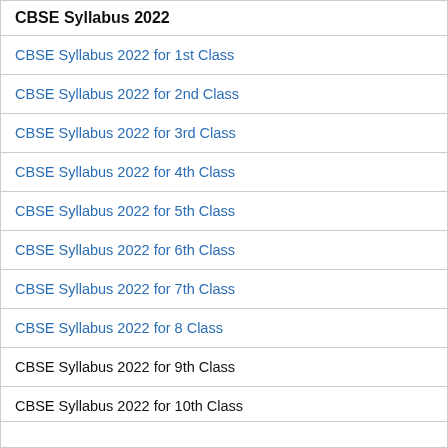CBSE Syllabus 2022
CBSE Syllabus 2022 for 1st Class
CBSE Syllabus 2022 for 2nd Class
CBSE Syllabus 2022 for 3rd Class
CBSE Syllabus 2022 for 4th Class
CBSE Syllabus 2022 for 5th Class
CBSE Syllabus 2022 for 6th Class
CBSE Syllabus 2022 for 7th Class
CBSE Syllabus 2022 for 8 Class
CBSE Syllabus 2022 for 9th Class
CBSE Syllabus 2022 for 10th Class